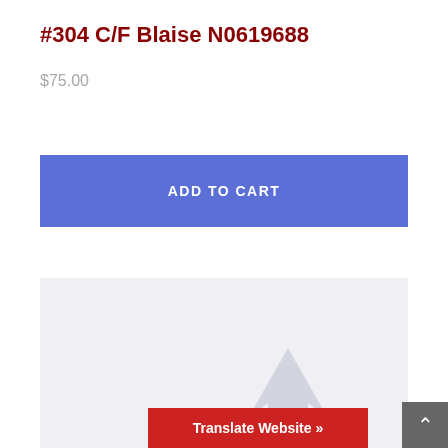#304 C/F Blaise N0619688
$75.00
ADD TO CART
[Figure (illustration): Product image placeholder with a light gray background and a stylized star/arrow shape in gray tones at the bottom center]
Translate Website »